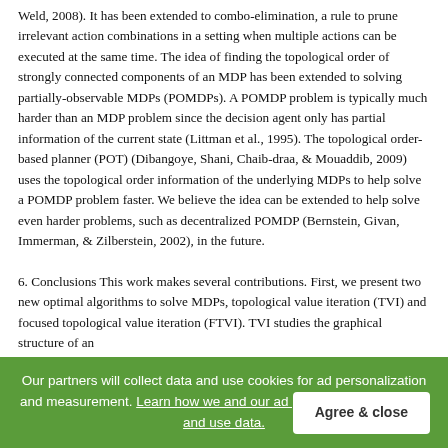Weld, 2008). It has been extended to combo-elimination, a rule to prune irrelevant action combinations in a setting when multiple actions can be executed at the same time. The idea of finding the topological order of strongly connected components of an MDP has been extended to solving partially-observable MDPs (POMDPs). A POMDP problem is typically much harder than an MDP problem since the decision agent only has partial information of the current state (Littman et al., 1995). The topological order-based planner (POT) (Dibangoye, Shani, Chaib-draa, & Mouaddib, 2009) uses the topological order information of the underlying MDPs to help solve a POMDP problem faster. We believe the idea can be extended to help solve even harder problems, such as decentralized POMDP (Bernstein, Givan, Immerman, & Zilberstein, 2002), in the future.
6. Conclusions This work makes several contributions. First, we present two new optimal algorithms to solve MDPs, topological value iteration (TVI) and focused topological value iteration (FTVI). TVI studies the graphical structure of an
Our partners will collect data and use cookies for ad personalization and measurement. Learn how we and our ad partner Google, collect and use data.